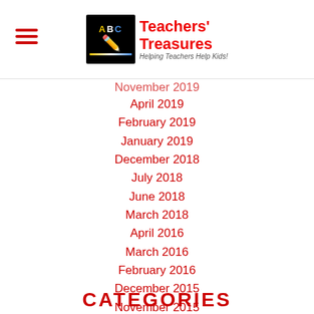Teachers' Treasures
November 2019
April 2019
February 2019
January 2019
December 2018
July 2018
June 2018
March 2018
April 2016
March 2016
February 2016
December 2015
November 2015
October 2015
September 2015
August 2015
July 2015
CATEGORIES